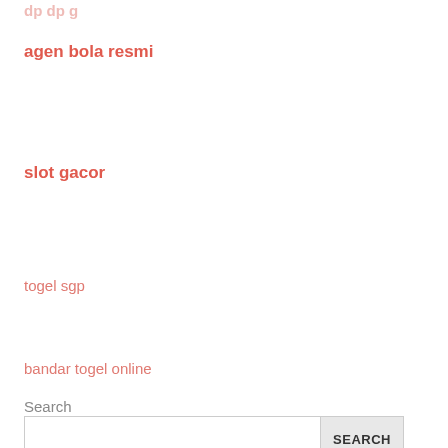agen bola resmi
slot gacor
togel sgp
bandar togel online
Search